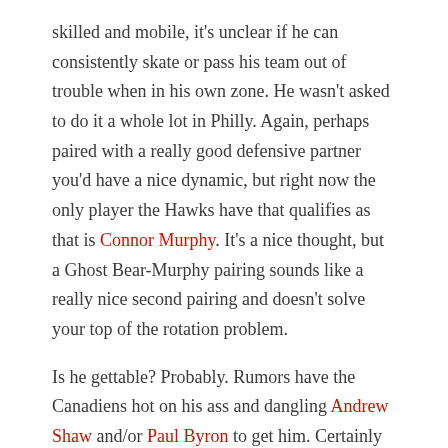skilled and mobile, it's unclear if he can consistently skate or pass his team out of trouble when in his own zone. He wasn't asked to do it a whole lot in Philly. Again, perhaps paired with a really good defensive partner you'd have a nice dynamic, but right now the only player the Hawks have that qualifies as that is Connor Murphy. It's a nice thought, but a Ghost Bear-Murphy pairing sounds like a really nice second pairing and doesn't solve your top of the rotation problem.
Is he gettable? Probably. Rumors have the Canadiens hot on his ass and dangling Andrew Shaw and/or Paul Byron to get him. Certainly Brandon Saad would be more than that, though if that deal straight up makes you queasy I get it. The Flyers are desperate for any kind of second line help, and Saad would definitely qualify as